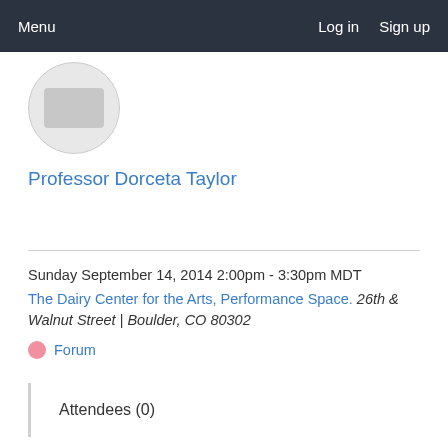Menu   Log in   Sign up
[Figure (illustration): Circular avatar placeholder with grey background showing faint icons]
Professor Dorceta Taylor
Sunday September 14, 2014 2:00pm - 3:30pm MDT
The Dairy Center for the Arts, Performance Space. 26th & Walnut Street | Boulder, CO 80302
Forum
Attendees (0)